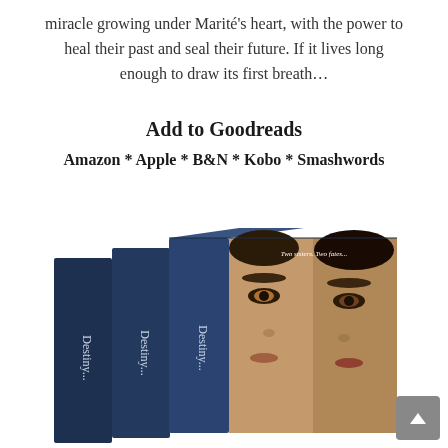miracle growing under Marité's heart, with the power to heal their past and seal their future. If it lives long enough to draw its first breath…
Add to Goodreads
Amazon * Apple * B&N * Kobo * Smashwords
[Figure (photo): A book box set showing three books with dark navy spines labeled 'Destiny...' and a front cover showing two women's faces close together with the tagline 'Two sisters. Two fates...']